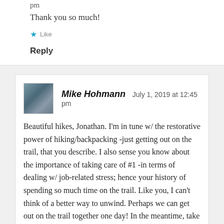pm
Thank you so much!
★ Like
Reply
Mike Hohmann   July 1, 2019 at 12:45 pm
Beautiful hikes, Jonathan. I'm in tune w/ the restorative power of hiking/backpacking -just getting out on the trail, that you describe. I also sense you know about the importance of taking care of #1 -in terms of dealing w/ job-related stress; hence your history of spending so much time on the trail. Like you, I can't think of a better way to unwind. Perhaps we can get out on the trail together one day! In the meantime, take care of